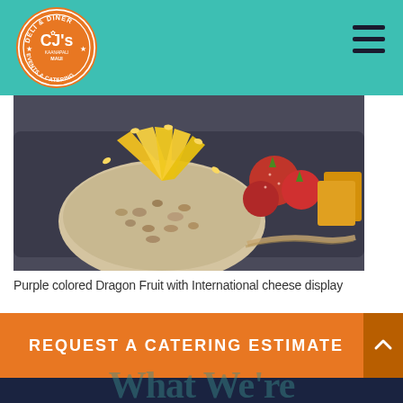[Figure (logo): CJ's Deli & Diner Events & Catering Kaanapali Maui circular orange logo with teal background header bar and hamburger menu icon]
[Figure (photo): Close-up photo of Purple colored Dragon Fruit with International cheese display — a round nut-crusted cheese ball topped with yellow mango slices, with strawberries and orange cheese cubes in the background on a dark slate board]
Purple colored Dragon Fruit with International cheese display
REQUEST A CATERING ESTIMATE
What We're